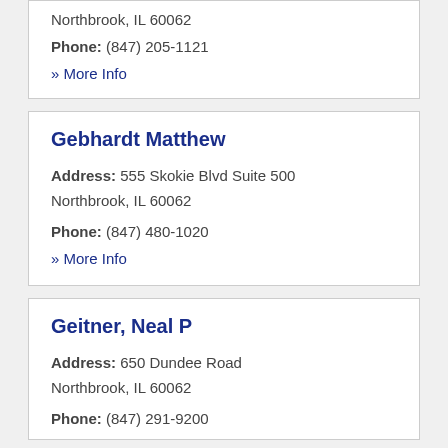Northbrook, IL 60062
Phone: (847) 205-1121
» More Info
Gebhardt Matthew
Address: 555 Skokie Blvd Suite 500 Northbrook, IL 60062
Phone: (847) 480-1020
» More Info
Geitner, Neal P
Address: 650 Dundee Road Northbrook, IL 60062
Phone: (847) 291-9200